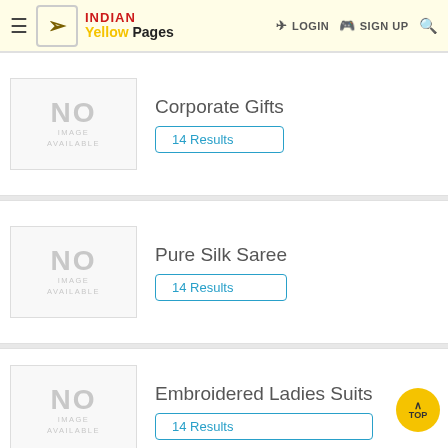INDIAN Yellow Pages — LOGIN SIGN UP
[Figure (screenshot): No image available placeholder for Corporate Gifts listing]
Corporate Gifts
14 Results
[Figure (screenshot): No image available placeholder for Pure Silk Saree listing]
Pure Silk Saree
14 Results
[Figure (screenshot): No image available placeholder for Embroidered Ladies Suits listing]
Embroidered Ladies Suits
14 Results